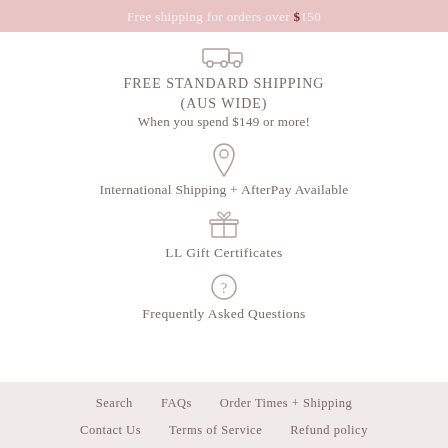Free shipping for orders over $150
[Figure (illustration): Truck/shipping icon]
FREE STANDARD SHIPPING (AUS WIDE)
When you spend $149 or more!
[Figure (illustration): Location pin icon]
International Shipping + AfterPay Available
[Figure (illustration): Gift box icon]
LL Gift Certificates
[Figure (illustration): Question mark circle icon]
Frequently Asked Questions
Search   FAQs   Order Times + Shipping   Contact Us   Terms of Service   Refund policy